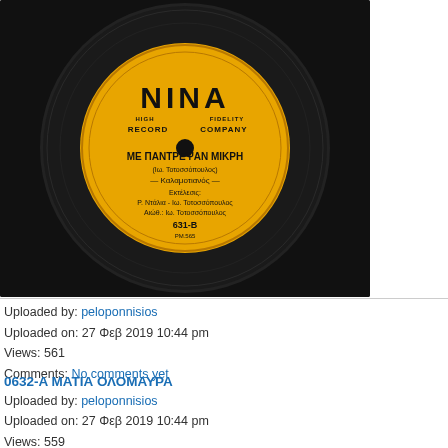[Figure (photo): Photo of a NINA High Record Company vinyl record label, yellow label, catalog number 631-B, text 'ΜΕ ΠΑΝΤΡΕΨΑΝ ΜΙΚΡΗ', Καλαμοτιανός, performers P. Ντάλια - Ιω. Τοτοσσόπουλος, Αιώθ.: Ιω. Τοτοσσόπουλος]
Uploaded by: peloponnisios
Uploaded on: 27 Φεβ 2019 10:44 pm
Views: 561
Comments: No comments yet
0632-A ΜΑΤΙΑ ΟΛΟΜΑΥΡΑ
[Figure (photo): Photo of a NINA High Record Company vinyl record label, yellow label, catalog number 632-A, text 'ΜΑΤΙΑ ΟΛΟΜΑΥΡΑ - Rumba', performer ELENI BARTSERI with Popular Orchestra]
Uploaded by: peloponnisios
Uploaded on: 27 Φεβ 2019 10:44 pm
Views: 559